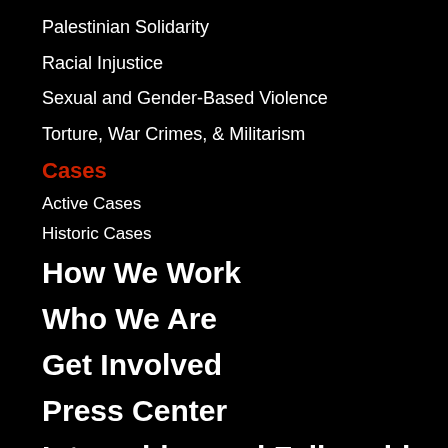Palestinian Solidarity
Racial Injustice
Sexual and Gender-Based Violence
Torture, War Crimes, & Militarism
Cases
Active Cases
Historic Cases
How We Work
Who We Are
Get Involved
Press Center
Internships and Fellowships